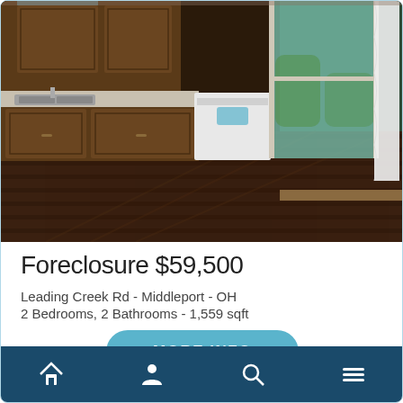[Figure (photo): Interior photo of a kitchen/dining room showing dark wood cabinets, a white dishwasher, a sink, light countertops, dark hardwood floors, a sliding glass door leading to a green yard, and a dark green accent wall on the right.]
Foreclosure $59,500
Leading Creek Rd - Middleport - OH
2 Bedrooms, 2 Bathrooms - 1,559 sqft
MORE INFO
Home | Account | Search | Menu